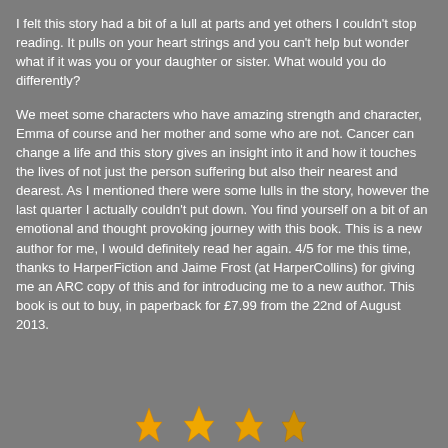I felt this story had a bit of a lull at parts and yet others I couldn't stop reading. It pulls on your heart strings and you can't help but wonder what if it was you or your daughter or sister. What would you do differently?
We meet some characters who have amazing strength and character, Emma of course and her mother and some who are not. Cancer can change a life and this story gives an insight into it and how it touches the lives of not just the person suffering but also their nearest and dearest. As I mentioned there were some lulls in the story, however the last quarter I actually couldn't put down. You find yourself on a bit of an emotional and thought provoking journey with this book. This is a new author for me, I would definitely read her again. 4/5 for me this time, thanks to HarperFiction and Jaime Frost (at HarperCollins) for giving me an ARC copy of this and for introducing me to a new author. This book is out to buy, in paperback for £7.99 from the 22nd of August 2013.
[Figure (illustration): Four flame/star decorative icons in orange/yellow at the bottom of the page]